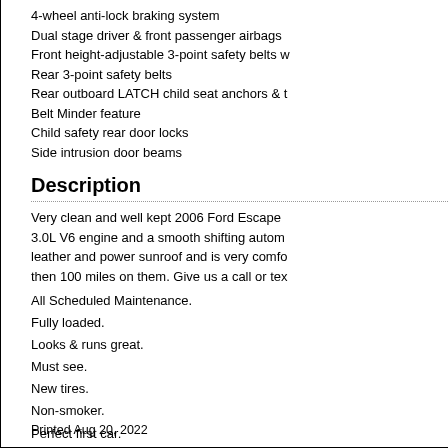4-wheel anti-lock braking system
Dual stage driver & front passenger airbags
Front height-adjustable 3-point safety belts w
Rear 3-point safety belts
Rear outboard LATCH child seat anchors & t
Belt Minder feature
Child safety rear door locks
Side intrusion door beams
Description
Very clean and well kept 2006 Ford Escape 3.0L V6 engine and a smooth shifting autom leather and power sunroof and is very comfo then 100 miles on them. Give us a call or tex
All Scheduled Maintenance.
Fully loaded.
Looks & runs great.
Must see.
New tires.
Non-smoker.
Perfect first car.
Power everything.
Runs & drives great.
Very clean interior.
Well maintained.
Printed Aug 20, 2022